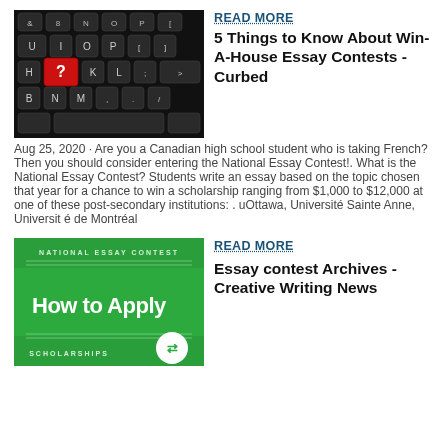[Figure (photo): Keyboard with a red question mark key]
READ MORE
5 Things to Know About Win-A-House Essay Contests - Curbed
Aug 25, 2020 · Are you a Canadian high school student who is taking French? Then you should consider entering the National Essay Contest!. What is the National Essay Contest? Students write an essay based on the topic chosen that year for a chance to win a scholarship ranging from $1,000 to $12,000 at one of these post-secondary institutions: . uOttawa, Université Sainte Anne, Universit é de Montréal
[Figure (photo): Green banner image reading 'NATIONAL ESSAY CONTEST – How to Apply – SCHOLARSHIPS' with a logo icon]
READ MORE
Essay contest Archives - Creative Writing News